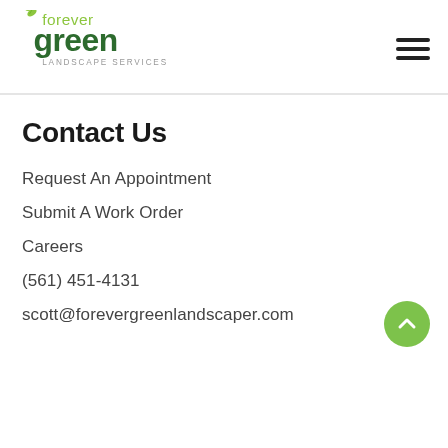[Figure (logo): Forever Green Landscape Services logo — a green leaf icon above 'forever' in green light text, 'green' in large bold dark green, and 'LANDSCAPE SERVICES' in gray below]
Contact Us
Request An Appointment
Submit A Work Order
Careers
(561) 451-4131
scott@forevergreenlandscaper.com